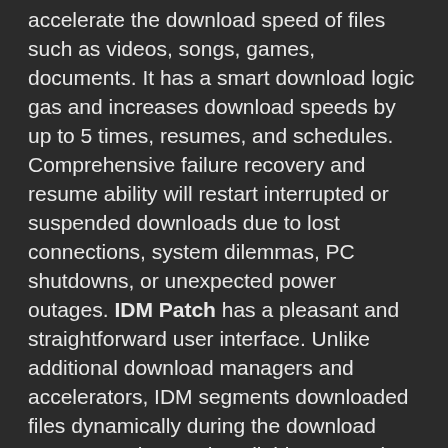accelerate the download speed of files such as videos, songs, games, documents. It has a smart download logic gas and increases download speeds by up to 5 times, resumes, and schedules. Comprehensive failure recovery and resume ability will restart interrupted or suspended downloads due to lost connections, system dilemmas, PC shutdowns, or unexpected power outages. IDM Patch has a pleasant and straightforward user interface. Unlike additional download managers and accelerators, IDM segments downloaded files dynamically during the download process and reused available connections without extra connect and sign-on stages to achieve the best acceleration functionality.
IDM Crack is a unique tool that increases downloading more often than the previous and becomes faster. Thus, It reboots broken or interrupted downloads readily available